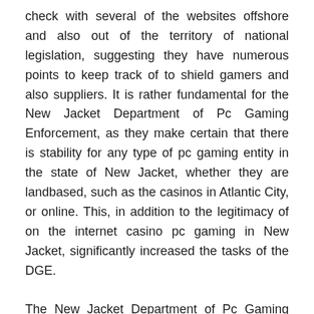check with several of the websites offshore and also out of the territory of national legislation, suggesting they have numerous points to keep track of to shield gamers and also suppliers. It is rather fundamental for the New Jacket Department of Pc Gaming Enforcement, as they make certain that there is stability for any type of pc gaming entity in the state of New Jacket, whether they are landbased, such as the casinos in Atlantic City, or online. This, in addition to the legitimacy of on the internet casino pc gaming in New Jacket, significantly increased the tasks of the DGE.
The New Jacket Department of Pc Gaming Enforcement DGE was developed in 1977; as well as during that time, they just kept track of and licensed